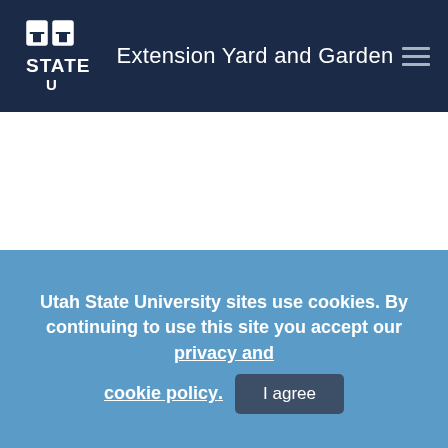Extension Yard and Garden
Search
This bulletin presents appropriate information pertaining to growing apple trees in the home orchard. Success depends on several key factors.
Utah State University sites use cookies. By continuing to use this site you accept our privacy and cookie policy. I agree